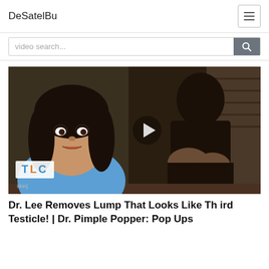DeSatelBu
video search...
[Figure (screenshot): Video thumbnail showing a woman in blue medical scrubs with TLC logo overlay and a play button in the center, depicting a medical/TV show scene.]
Dr. Lee Removes Lump That Looks Like Third Testicle! | Dr. Pimple Popper: Pop Ups